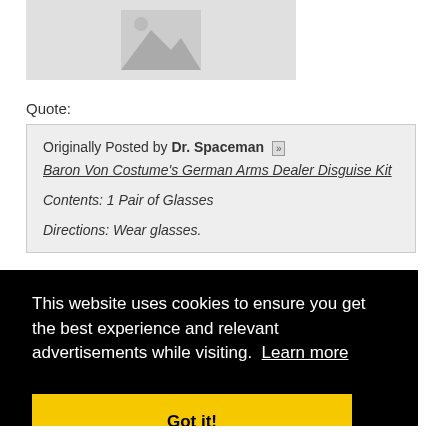[Figure (illustration): Image placeholder with grey background and mountain/landscape icon]
Quote:
Originally Posted by Dr. Spaceman [»]
Baron Von Costume's German Arms Dealer Disguise Kit

Contents: 1 Pair of Glasses

Directions: Wear glasses.
This website uses cookies to ensure you get the best experience and relevant advertisements while visiting. Learn more

Got it!